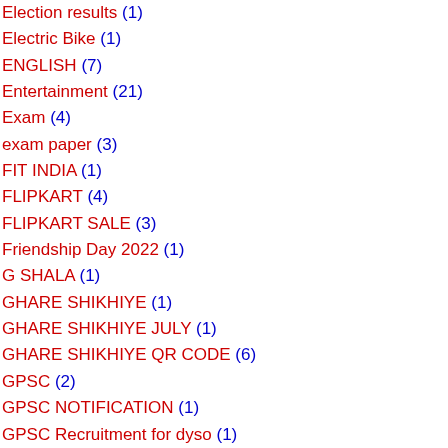Election results (1)
Electric Bike (1)
ENGLISH (7)
Entertainment (21)
Exam (4)
exam paper (3)
FIT INDIA (1)
FLIPKART (4)
FLIPKART SALE (3)
Friendship Day 2022 (1)
G SHALA (1)
GHARE SHIKHIYE (1)
GHARE SHIKHIYE JULY (1)
GHARE SHIKHIYE QR CODE (6)
GPSC (2)
GPSC NOTIFICATION (1)
GPSC Recruitment for dyso (1)
Gujarat Gyan Guru Online Quiz (1)
Happy Dussehra 2021 Wishes (1)